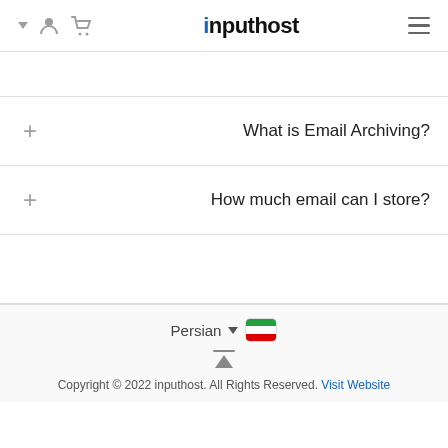inputhost
?What is Email Archiving
?How much email can I store
Persian
Copyright © 2022 inputhost. All Rights Reserved. Visit Website